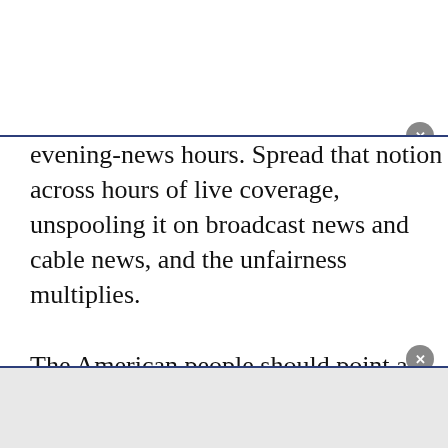evening-news hours. Spread that notion across hours of live coverage, unspooling it on broadcast news and cable news, and the unfairness multiplies.

The American people should point and laugh at the idea that the networks would argue it is essential for the Senate jurors to be nonpartisan in their